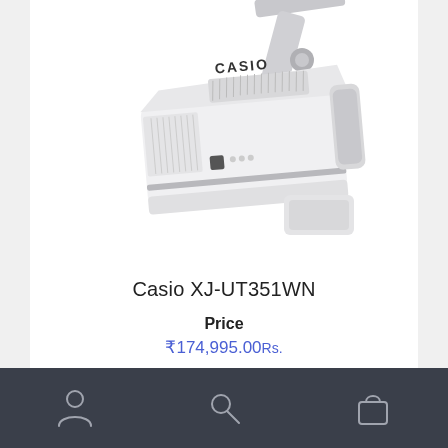[Figure (photo): Casio XJ-UT351WN ultra-short throw projector, white body with silver/chrome arm mount, viewed from above at an angle. The word CASIO is printed on top of the unit.]
Casio XJ-UT351WN
Price
₹174,995.00Rs.
[Figure (infographic): Bottom navigation bar with three icons: person/account icon, search/magnifying glass icon, and shopping bag icon.]